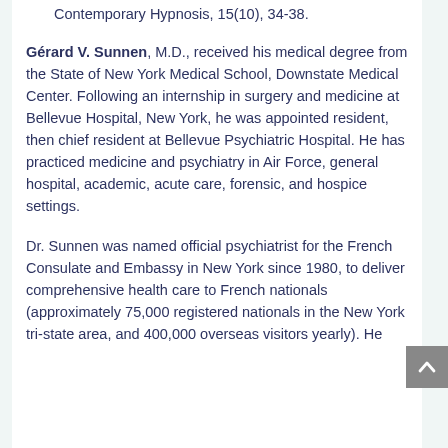Contemporary Hypnosis, 15(10), 34-38.
Gérard V. Sunnen, M.D., received his medical degree from the State of New York Medical School, Downstate Medical Center. Following an internship in surgery and medicine at Bellevue Hospital, New York, he was appointed resident, then chief resident at Bellevue Psychiatric Hospital. He has practiced medicine and psychiatry in Air Force, general hospital, academic, acute care, forensic, and hospice settings.
Dr. Sunnen was named official psychiatrist for the French Consulate and Embassy in New York since 1980, to deliver comprehensive health care to French nationals (approximately 75,000 registered nationals in the New York tri-state area, and 400,000 overseas visitors yearly). He